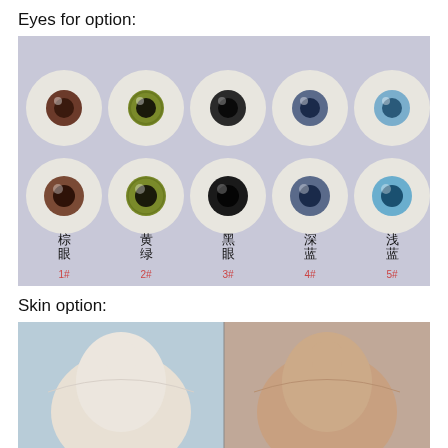Eyes for option:
[Figure (photo): Ten artificial doll eyes arranged in two rows of five. Top row and bottom row show pairs. Labels in Chinese below each column: 棕眼 (brown eyes) #1, 黄绿 (yellow-green) #2, 黑眼 (black eyes) #3, 深蓝 (dark blue) #4, 浅蓝 (light blue) #5. Numbers in pink/red: 1#, 2#, 3#, 4#, 5#.]
Skin option:
[Figure (photo): Two doll torso bodies showing skin tone options: left side is very pale/white skin, right side is natural/tan skin tone.]